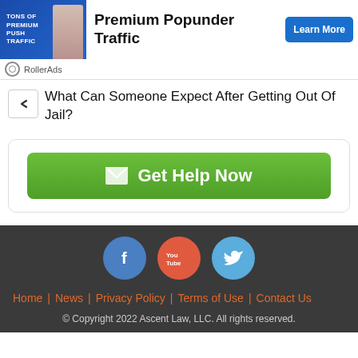[Figure (other): Advertisement banner for Premium Popunder Traffic by RollerAds with Learn More button]
What Can Someone Expect After Getting Out Of Jail?
[Figure (other): Green Get Help Now button with envelope icon]
[Figure (other): Footer social media icons: Facebook, YouTube, Twitter]
Home | News | Privacy Policy | Terms of Use | Contact Us
© Copyright 2022 Ascent Law, LLC. All rights reserved.